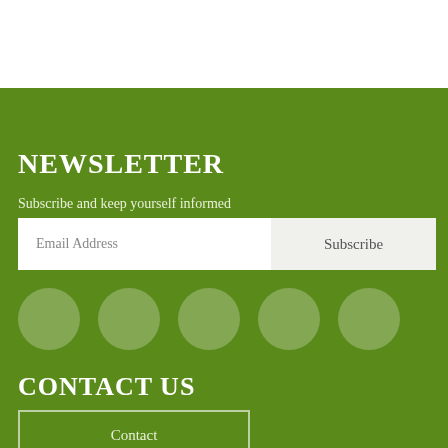NEWSLETTER
Subscribe and keep yourself informed
Email Address   Subscribe
[Figure (infographic): Five circular social media icon placeholders in light green on green background]
CONTACT US
Contact